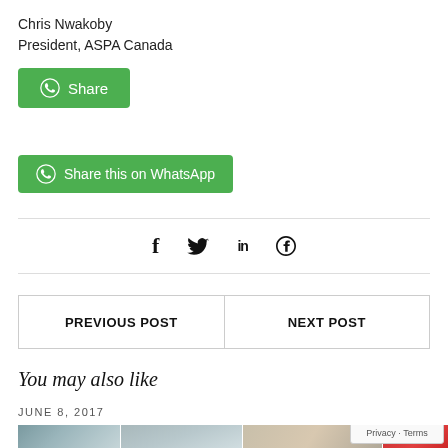Chris Nwakoby
President, ASPA Canada
[Figure (other): Green WhatsApp Share button with icon]
[Figure (other): Green 'Share this on WhatsApp' button with WhatsApp icon]
[Figure (other): Social media icons bar: Facebook (f), Twitter (bird), LinkedIn (in), Pinterest (circle p)]
[Figure (other): Navigation bar with PREVIOUS POST and NEXT POST links]
You may also like
JUNE 8, 2017
[Figure (photo): Street scene photograph with buildings, trees, traffic, and a red sign visible]